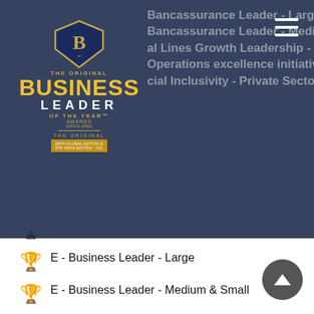[Figure (logo): The Original Business Leader of the Year Awards logo with shield emblem and gold text]
Bancassurance Leader - Large
Bancassurance Leader - Medium & Small
Commercial Lines Growth Leadership - Public Sector
Operations excellence initiative of the year
Social Inclusivity - Private Sector
Social Inclusion - Public Sector
E - Business Leader - Large
E - Business Leader - Medium & Small
Claims Service Leader - Large
Claims Service Leader - Medium & Small
Personal Lines Growth Leadership - Private Sector
Commercial Lines Growth Leadership - Private Sector
General Insurance Company of the Year – Large - Private Sector
General Insurance Company of the Year - Medium & Small - Private Sector